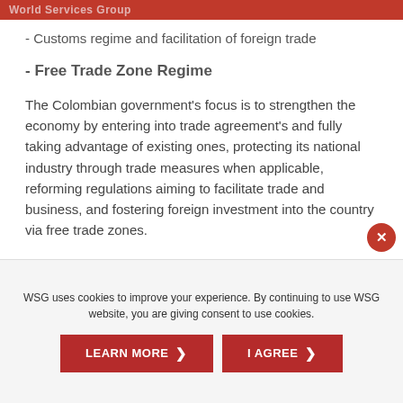World Services Group
- Customs regime and facilitation of foreign trade
- Free Trade Zone Regime
The Colombian government’s focus is to strengthen the economy by entering into trade agreement’s and fully taking advantage of existing ones, protecting its national industry through trade measures when applicable, reforming regulations aiming to facilitate trade and business, and fostering foreign investment into the country via free trade zones.
To read the full analysis on the legal developments
WSG uses cookies to improve your experience. By continuing to use WSG website, you are giving consent to use cookies.